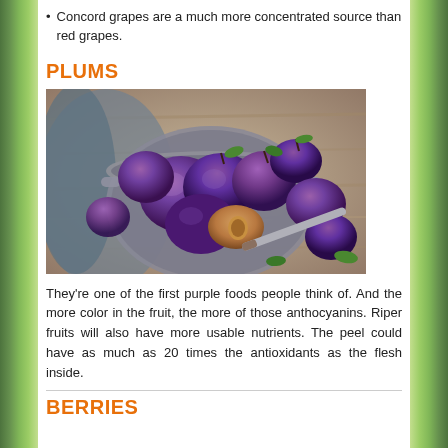Concord grapes are a much more concentrated source than red grapes.
PLUMS
[Figure (photo): A colander filled with fresh dark purple plums, some cut open showing the pit, scattered on a wooden surface with green leaves.]
They're one of the first purple foods people think of. And the more color in the fruit, the more of those anthocyanins. Riper fruits will also have more usable nutrients. The peel could have as much as 20 times the antioxidants as the flesh inside.
BERRIES